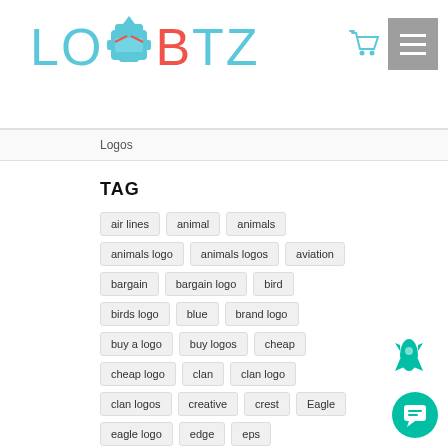[Figure (logo): LOBOTZ logo with robot helmet mascot in cyan/teal and red colors]
Logos
TAG
air lines
animal
animals
animals logo
animals logos
aviation
bargain
bargain logo
bird
birds logo
blue
brand logo
buy a logo
buy logos
cheap
cheap logo
clan
clan logo
clan logos
creative
crest
Eagle
eagle logo
edge
eps
esport logos
eSports
eSports logo
Exclusive
falcon
gaming
gaming logos
horns
logo
logo for sale
logos
logos for sale
mascot
mascot logos
military
monster
owl
owls
power
premium
psd
sale
soldier